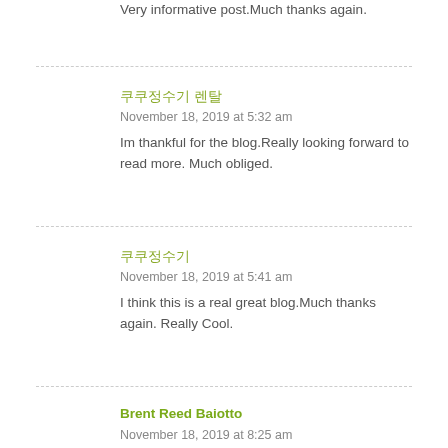Very informative post.Much thanks again.
쿠쿠정수기 렌탈
November 18, 2019 at 5:32 am
Im thankful for the blog.Really looking forward to read more. Much obliged.
쿠쿠정수기
November 18, 2019 at 5:41 am
I think this is a real great blog.Much thanks again. Really Cool.
Brent Reed Baiotto
November 18, 2019 at 8:25 am